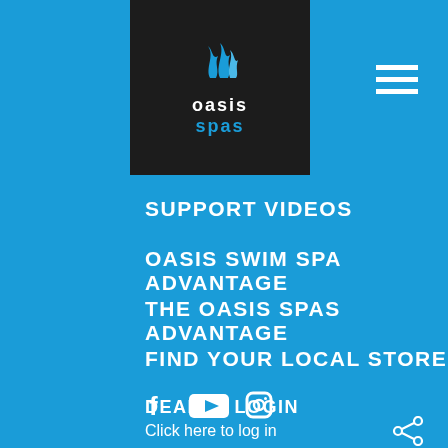[Figure (logo): Oasis Spas logo: dark background with blue wave icon and text 'oasis spas' in white and blue]
[Figure (illustration): Hamburger menu icon (three horizontal lines) in white]
SUPPORT VIDEOS
OASIS SWIM SPA ADVANTAGE
THE OASIS SPAS ADVANTAGE
FIND YOUR LOCAL STORE
DEALER LOGIN
Click here to log in
[Figure (illustration): Social media icons: Facebook, YouTube, Instagram]
[Figure (illustration): Share icon in bottom right corner]